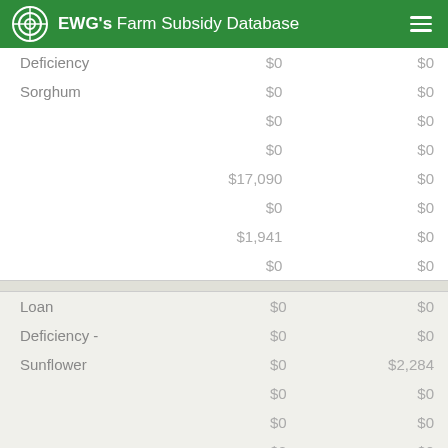EWG's Farm Subsidy Database
| Program | Col1 | Col2 |
| --- | --- | --- |
| Deficiency | $0 | $0 |
| Sorghum | $0 | $0 |
|  | $0 | $0 |
|  | $0 | $0 |
|  | $17,090 | $0 |
|  | $0 | $0 |
|  | $1,941 | $0 |
|  | $0 | $0 |
| Program | Col1 | Col2 |
| --- | --- | --- |
| Loan | $0 | $0 |
| Deficiency - | $0 | $0 |
| Sunflower | $0 | $2,284 |
|  | $0 | $0 |
|  | $0 | $0 |
|  | $0 | $0 |
|  | $0 | $0 |
|  | $0 | $0 |